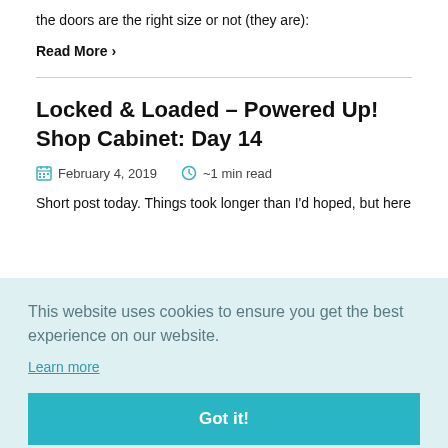the doors are the right size or not (they are):
Read More >
Locked & Loaded - Powered Up! Shop Cabinet: Day 14
February 4, 2019   ~1 min read
Short post today. Things took longer than I'd hoped, but here
This website uses cookies to ensure you get the best experience on our website. Learn more
Got it!
15
NOTE: This post is intentionally long, to give you some feel for